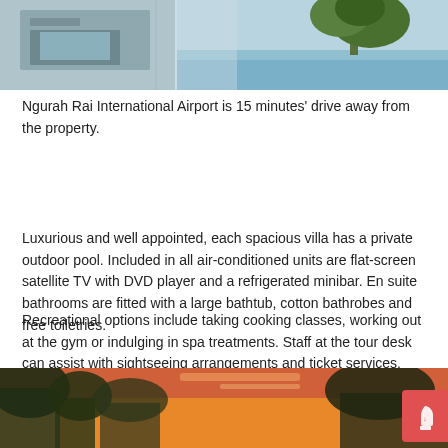[Figure (photo): Top portion of a hotel villa photo showing a pool area with trees and blue sky]
Ngurah Rai International Airport is 15 minutes' drive away from the property.
Luxurious and well appointed, each spacious villa has a private outdoor pool. Included in all air-conditioned units are flat-screen satellite TV with DVD player and a refrigerated minibar. En suite bathrooms are fitted with a large bathtub, cotton bathrobes and free toiletries.
Recreational options include taking cooking classes, working out at the gym or indulging in spa treatments. Staff at the tour desk can assist with sightseeing arrangements and ticket services. Currency exchange is available. Wi-Fi is accessible for free in all areas.
[Figure (photo): Bottom photo showing tropical landscape with trees and orange sunset sky]